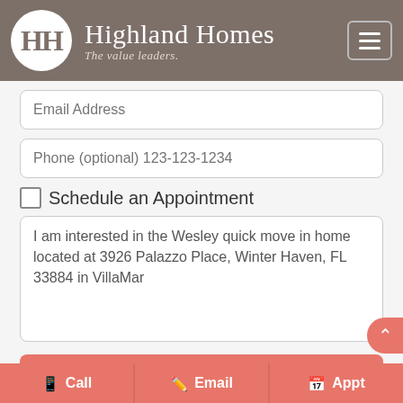[Figure (logo): Highland Homes logo with circular HH monogram and tagline 'The value leaders.' on brown/taupe header bar with hamburger menu icon]
Email Address
Phone (optional) 123-123-1234
Schedule an Appointment
I am interested in the Wesley quick move in home located at 3926 Palazzo Place, Winter Haven, FL 33884 in VillaMar
REQUEST INFO
We won't share your email address with anyone.
Call
Email
Appt